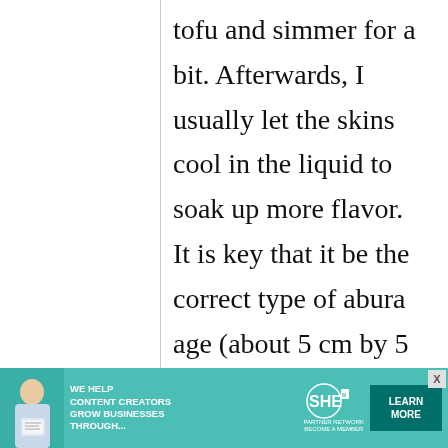tofu and simmer for a bit. Afterwards, I usually let the skins cool in the liquid to soak up more flavor. It is key that it be the correct type of abura age (about 5 cm by 5 cm and <1 cm thick) or the pocket won't form. The big advantage to this
[Figure (infographic): Advertisement banner for SHE Media Partner Network with text 'We Help Content Creators Grow Businesses Through...' and a 'Learn More' button]